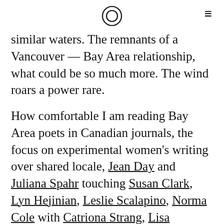[logo circle icon] [hamburger menu]
similar waters. The remnants of a Vancouver — Bay Area relationship, what could be so much more. The wind roars a power rare.
How comfortable I am reading Bay Area poets in Canadian journals, the focus on experimental women's writing over shared locale, Jean Day and Juliana Spahr touching Susan Clark, Lyn Hejinian, Leslie Scalapino, Norma Cole with Catriona Strang, Lisa Robertson. If Angus moves back it could start up, again, different, of course, but over